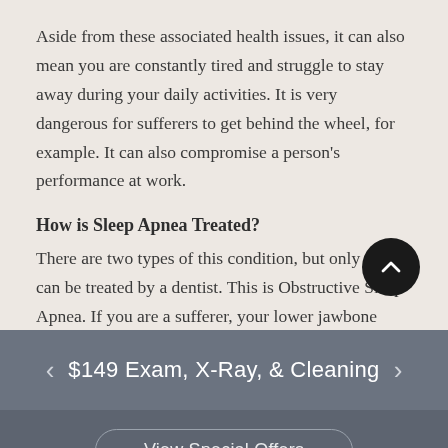Aside from these associated health issues, it can also mean you are constantly tired and struggle to stay away during your daily activities. It is very dangerous for sufferers to get behind the wheel, for example. It can also compromise a person’s performance at work.
How is Sleep Apnea Treated?
There are two types of this condition, but only one can be treated by a dentist. This is Obstructive Sleep Apnea. If you are a sufferer, your lower jawbone muscles are unable to hold your jaw in place while
$149 Exam, X-Ray, & Cleaning
View Special Offers